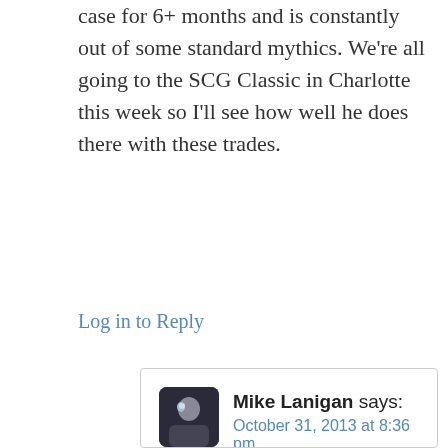case for 6+ months and is constantly out of some standard mythics. We're all going to the SCG Classic in Charlotte this week so I'll see how well he does there with these trades.
Log in to Reply
Mike Lanigan says:
October 31, 2013 at 8:36 pm
Glad I could bring light to a tough topic. I think trading will be better at the TCG Invitational this weekend. Trying to get people to not go by star city prices was hard. I did get a lot of stock but I didn't do as well as I should